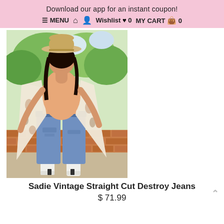Download our app for an instant coupon!
≡ MENU  🏠  👤  Wishlist ♥ 0  MY CART 🛍 0
[Figure (photo): Woman wearing a wide-brim hat, patterned kimono/duster, peach top, distressed straight-cut jeans, and white cowboy boots, standing outdoors near brick wall with greenery]
Sadie Vintage Straight Cut Destroy Jeans
$ 71.99